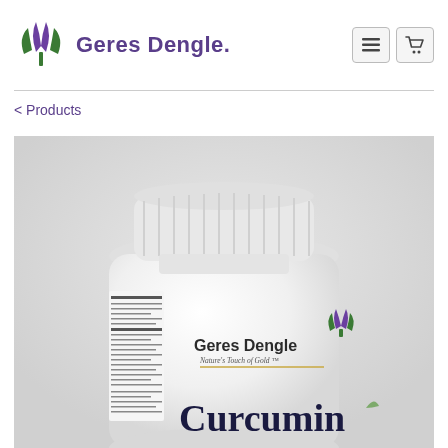[Figure (logo): Geres Dengle logo with purple tulip/leaf icon and brand name text]
< Products
[Figure (photo): White supplement bottle with Geres Dengle branding and Curcumin label, showing the bottle cap and front label with the company logo and text reading Geres Dengle, Nature's Touch of Gold, Curcumin]